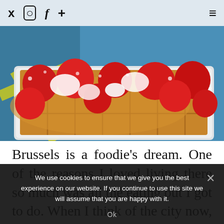Twitter Instagram Facebook + Menu
[Figure (photo): Close-up photo of a Belgian waffle topped with fresh strawberries and powdered sugar, served in a white plastic container on a blue background]
Brussels is a foodie’s dream. One of the reasons I loved living there so much was all the eating out I got to do. When I think of the city now, I still
We use cookies to ensure that we give you the best experience on our website. If you continue to use this site we will assume that you are happy with it.
Ok